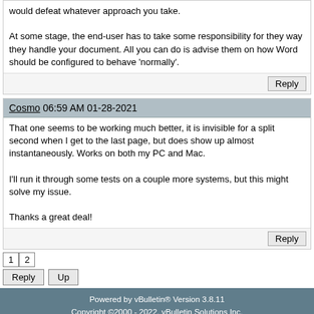would defeat whatever approach you take.

At some stage, the end-user has to take some responsibility for they way they handle your document. All you can do is advise them on how Word should be configured to behave 'normally'.
Reply
Cosmo 06:59 AM 01-28-2021
That one seems to be working much better, it is invisible for a split second when I get to the last page, but does show up almost instantaneously. Works on both my PC and Mac.

I'll run it through some tests on a couple more systems, but this might solve my issue.

Thanks a great deal!
Reply
1 2
Reply Up
Powered by vBulletin® Version 3.8.11
Copyright ©2000 - 2022, vBulletin Solutions Inc.
Search Engine Optimisation provided by DragonByte SEO (Lite) - vBulletin Mods & Addons Copyright © 2022 DragonByte Technologies Ltd.
MSOfficeForums.com is not affiliated with Microsoft
Lightweight Styling © Dartho